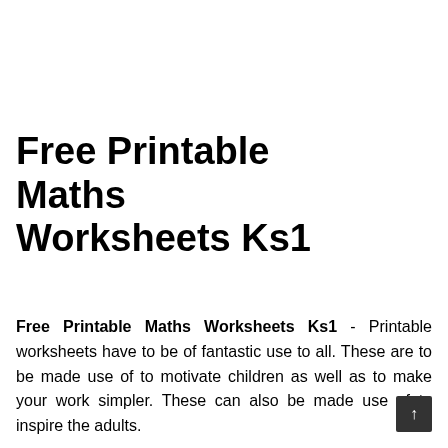Free Printable Maths Worksheets Ks1
Free Printable Maths Worksheets Ks1 - Printable worksheets have to be of fantastic use to all. These are to be made use of to motivate children as well as to make your work simpler. These can also be made use of to inspire the adults.